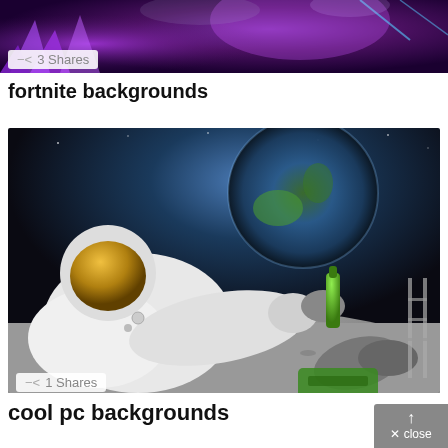[Figure (photo): Fortnite-themed background image with purple/neon game art, crystals and character silhouette]
3 Shares
fortnite backgrounds
[Figure (photo): Astronaut relaxing on the moon surface holding a green beer bottle, Earth visible in background, grayscale landscape]
1 Shares
cool pc backgrounds